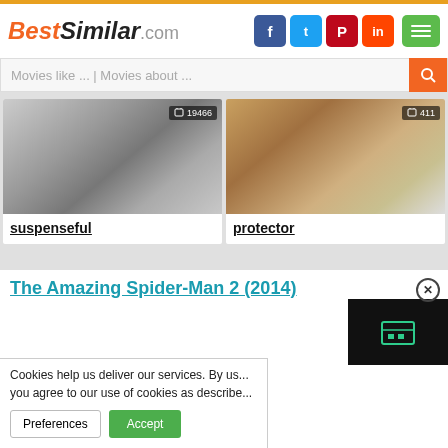BestSimilar.com
Movies like ... | Movies about ...
[Figure (photo): Black and white photo of woman with hair blowing, badge showing 19466]
suspenseful
[Figure (photo): Color photo of two people in period costume, badge showing 411]
protector
The Amazing Spider-Man 2 (2014)
[Figure (logo): Last.fm style icon on black background]
Cookies help us deliver our services. By us... you agree to our use of cookies as describe...
Preferences
Accept